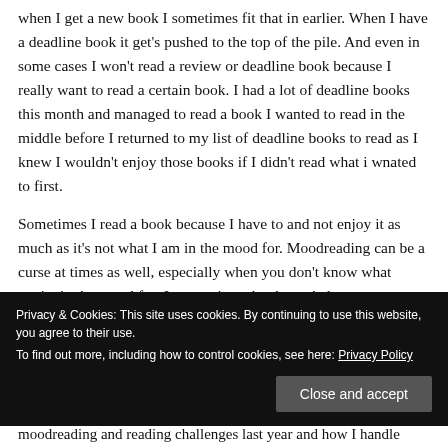when I get a new book I sometimes fit that in earlier. When I have a deadline book it get's pushed to the top of the pile. And even in some cases I won't read a review or deadline book because I really want to read a certain book. I had a lot of deadline books this month and managed to read a book I wanted to read in the middle before I returned to my list of deadline books to read as I knew I wouldn't enjoy those books if I didn't read what i wnated to first.
Sometimes I read a book because I have to and not enjoy it as much as it's not what I am in the mood for. Moodreading can be a curse at times as well, especially when you don't know what you're in the mood for. Just starting a book can help
Privacy & Cookies: This site uses cookies. By continuing to use this website, you agree to their use.
To find out more, including how to control cookies, see here: Privacy Policy
moodreading and reading challenges last year and how I handle